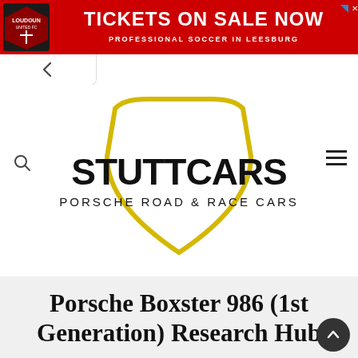[Figure (screenshot): Red advertisement banner for Loudoun Soccer: 'TICKETS ON SALE NOW - PROFESSIONAL SOCCER IN LEESBURG' with Loudoun United FC shield logo on the left]
[Figure (logo): Stuttcars logo: yellow shield outline with 'STUTTCARS' in large black bold letters and 'PORSCHE ROAD & RACE CARS' below in smaller spaced letters]
Porsche Boxster 986 (1st Generation) Research Hub